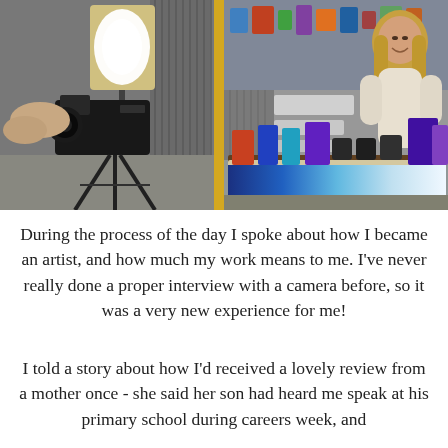[Figure (photo): Two side-by-side photos. Left: a camera on a tripod with a softbox light and a person's hands visible, in what appears to be a storage unit or studio space. Right: a smiling woman standing behind a table displaying resin art pieces and jars, with shelves of supplies in the background.]
During the process of the day I spoke about how I became an artist, and how much my work means to me. I've never really done a proper interview with a camera before, so it was a very new experience for me!
I told a story about how I'd received a lovely review from a mother once - she said her son had heard me speak at his primary school during careers week, and